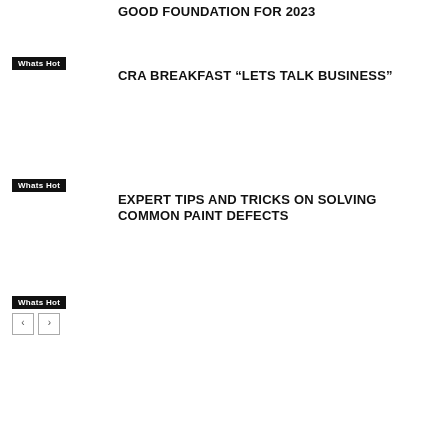GOOD FOUNDATION FOR 2023
Whats Hot
CRA BREAKFAST “LETS TALK BUSINESS”
Whats Hot
EXPERT TIPS AND TRICKS ON SOLVING COMMON PAINT DEFECTS
Whats Hot